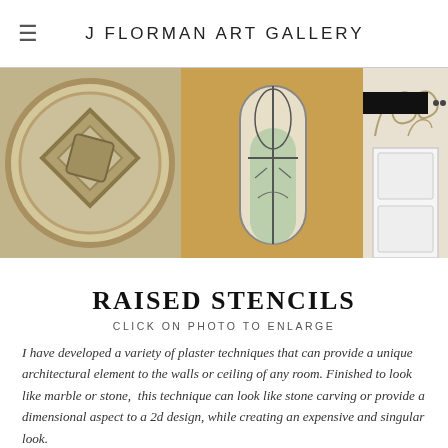J FLORMAN ART GALLERY
[Figure (photo): Banner strip with three photos: left shows a circular plaster medallion with diamond pattern on ceiling, center shows a trompe l'oeil arched window with ironwork on an ochre wall, right shows decorative scrollwork stencil above a white door]
RAISED STENCILS
CLICK ON PHOTO TO ENLARGE
I have developed a variety of plaster techniques that can provide a unique architectural element to the walls or ceiling of any room. Finished to look like marble or stone,  this technique can look like stone carving or provide a dimensional aspect to a 2d design, while creating an expensive and singular look.
[Figure (photo): Bottom photo showing a round arched window with wooden blinds and faint stenciling on light green wall above]